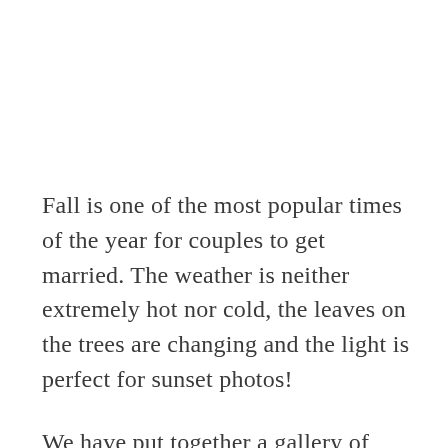Fall is one of the most popular times of the year for couples to get married. The weather is neither extremely hot nor cold, the leaves on the trees are changing and the light is perfect for sunset photos!
We have put together a gallery of photos from a fall wedding we coordinated at